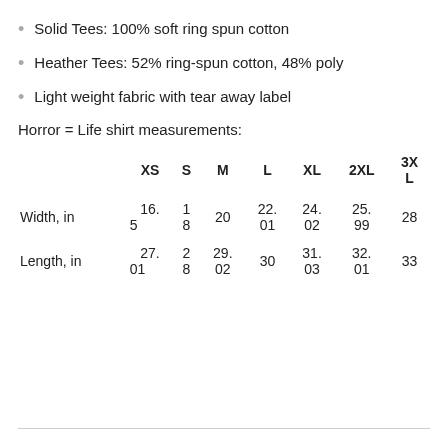Solid Tees: 100% soft ring spun cotton
Heather Tees: 52% ring-spun cotton, 48% poly
Light weight fabric with tear away label
Horror = Life shirt measurements:
|  | XS | S | M | L | XL | 2XL | 3XL |
| --- | --- | --- | --- | --- | --- | --- | --- |
| Width, in | 16.5 | 18 | 20 | 22.01 | 24.02 | 25.99 | 28 |
| Length, in | 27.01 | 28 | 29.02 | 30 | 31.03 | 32.01 | 33 |